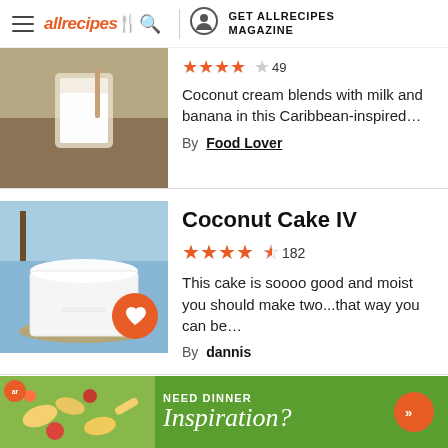allrecipes | GET ALLRECIPES MAGAZINE
Coconut cream blends with milk and banana in this Caribbean-inspired…
By Food Lover
Coconut Cake IV
182 ratings, 4.5 stars
This cake is soooo good and moist you should make two...that way you can be…
By dannis
[Figure (infographic): Advertisement banner: green background with pasta salad image, text 'NEED DINNER Inspiration?' and orange arrow button]